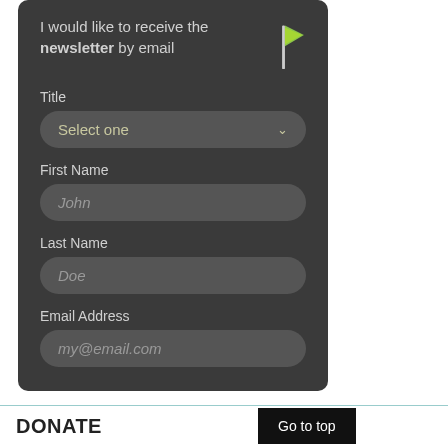I would like to receive the newsletter by email
Title
Select one
First Name
John
Last Name
Doe
Email Address
my@email.com
DONATE
Go to top